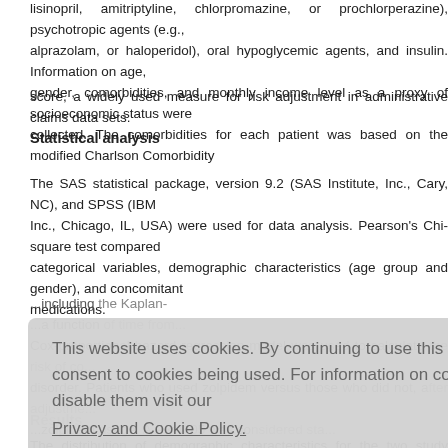lisinopril, amitriptyline, chlorpromazine, or prochlorperazine), psychotropic agents (e.g., alprazolam, or haloperidol), oral hypoglycemic agents, and insulin. Information on age, gender, comorbidities, and monthly income level as a proxy of socioeconomic status were collected. The comorbidities for each patient was based on the modified Charlson Comorbidity score, a widely used measure for risk adjustment in administrative claims data sets.
Statistical analysis
The SAS statistical package, version 9.2 (SAS Institute, Inc., Cary, NC), and SPSS (IBM Inc., Chicago, IL, USA) were used for data analysis. Pearson's Chi-square test compared categorical variables, demographic characteristics (age group and gender), and concomitant medications.
...including the Kaplan-Meier analysis, a function of time from... Cox-proportional hazard regression model was used to calculate the risk of developing the disorder. Patients who used zolpidem versus those who did not, after adjustment for zolpidem usage. A P < 0.05 was considered statistically significant.
[Figure (screenshot): Cookie consent overlay dialog with text 'This website uses cookies. By continuing to use this website you are giving consent to cookies being used. For information on cookies and how you can disable them visit our Privacy and Cookie Policy.' and a red 'AGREE & PROCEED' button.]
Results
The distribution of demographic characteristics for the two study cohorts...